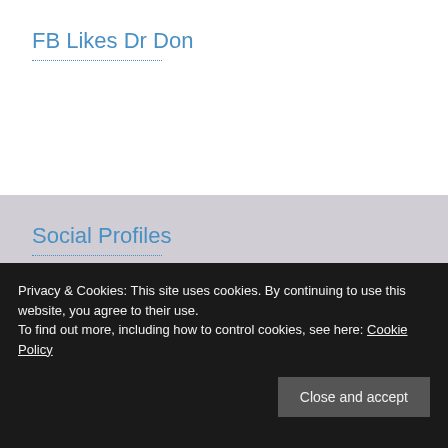FB Likes Dr Don
Social Profiles
FOLLOW ON TWITTER
FOLLOW ON TUMBLR
Privacy & Cookies: This site uses cookies. By continuing to use this website, you agree to their use.
To find out more, including how to control cookies, see here: Cookie Policy
Close and accept